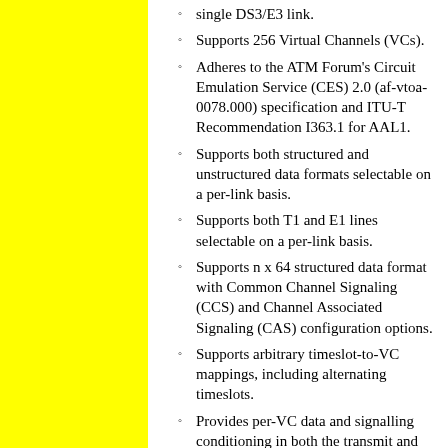single DS3/E3 link.
Supports 256 Virtual Channels (VCs).
Adheres to the ATM Forum's Circuit Emulation Service (CES) 2.0 (af-vtoa-0078.000) specification and ITU-T Recommendation I363.1 for AAL1.
Supports both structured and unstructured data formats selectable on a per-link basis.
Supports both T1 and E1 lines selectable on a per-link basis.
Supports n x 64 structured data format with Common Channel Signaling (CCS) and Channel Associated Signaling (CAS) configuration options.
Supports arbitrary timeslot-to-VC mappings, including alternating timeslots.
Provides per-VC data and signalling conditioning in both the transmit and the receive